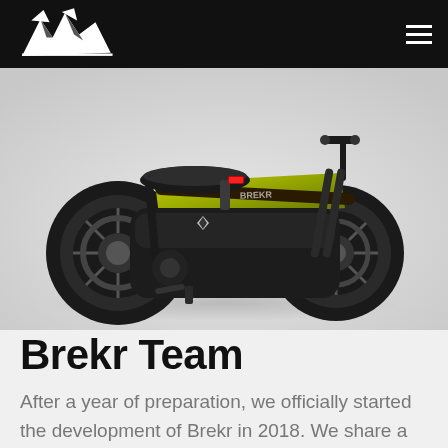Brekr navigation bar with logo and hamburger menu
[Figure (photo): Electric motorbike/e-bike with yellow-green frame, black body, fat tires, flat motorcycle seat with red tail light, photographed from the rear-left angle on a white/light grey background. The bike has a retro café racer style.]
Brekr Team
After a year of preparation, we officially started the development of Brekr in 2018. We share a passion for